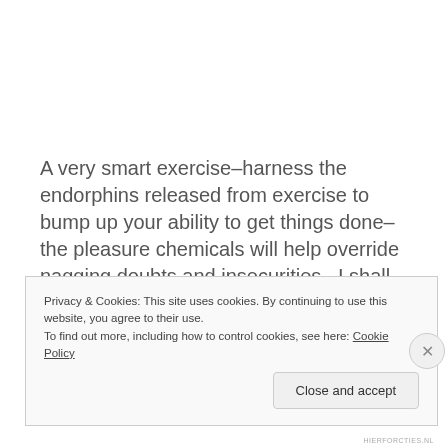A very smart exercise–harness the endorphins released from exercise to bump up your ability to get things done–the pleasure chemicals will help override nagging doubts and insecurities.  I shall have to try this.
Privacy & Cookies: This site uses cookies. By continuing to use this website, you agree to their use.
To find out more, including how to control cookies, see here: Cookie Policy
Close and accept